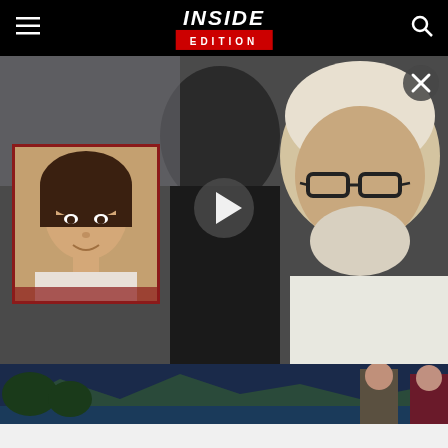Inside Edition
[Figure (photo): Main video frame showing an elderly white-haired man with glasses and beard, and a younger bearded man behind him; inset photo of a young girl with dark bowl-cut hair; play button overlay; close button overlay]
[Figure (photo): Bottom strip showing two people standing outdoors against a mountainous coastal background]